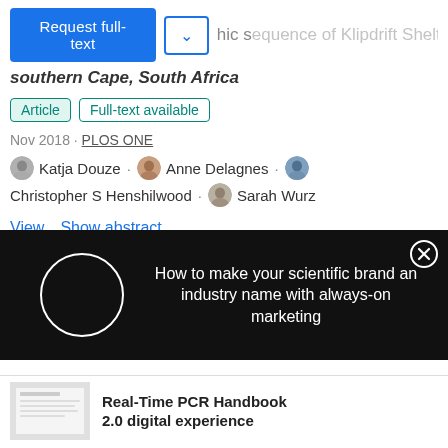...hic sequence of Klipdrift Shelter, southern Cape, South Africa
Article · Full-text available
Nov 2018 · PLOS ONE
Katja Douze · Anne Delagnes · Christopher S Henshilwood · Sarah Wurz
View  Show abstract
[Figure (screenshot): Dark overlay advertisement: circle loading icon on left, text 'How to make your scientific brand an industry name with always-on marketing' on right, close button top right]
Real-Time PCR Handbook 2.0 digital experience